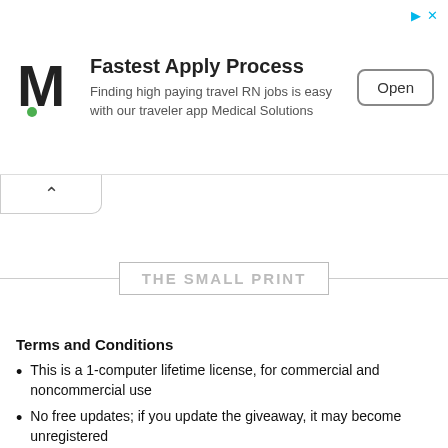[Figure (infographic): Advertisement banner for Medical Solutions app. Shows stylized 'M' logo with green dot, headline 'Fastest Apply Process', subtitle 'Finding high paying travel RN jobs is easy with our traveler app Medical Solutions', and an 'Open' button with rounded border.]
THE SMALL PRINT
Terms and Conditions
This is a 1-computer lifetime license, for commercial and noncommercial use
No free updates; if you update the giveaway, it may become unregistered